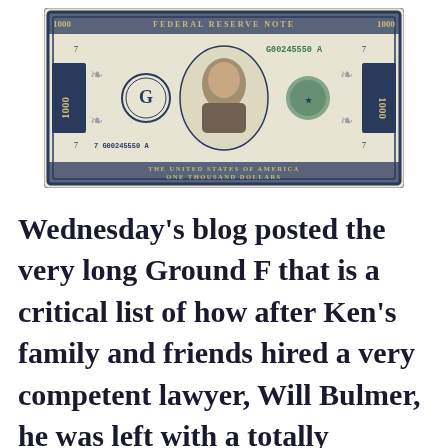[Figure (photo): Image of a $1000 Federal Reserve Note (US currency bill) with serial number G00245550A, featuring a portrait in the center, the Federal Reserve seal with 'G', and text reading 'THE UNITED STATES OF AMERICA ONE THOUSAND DOLLARS']
Wednesday's blog posted the very long Ground F that is a critical list of how after Ken's family and friends hired a very competent lawyer, Will Bulmer, he was left with a totally